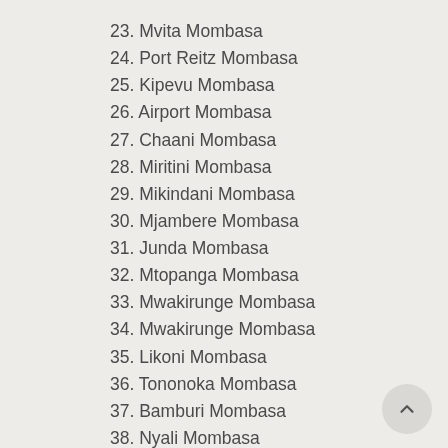23. Mvita Mombasa
24. Port Reitz Mombasa
25. Kipevu Mombasa
26. Airport Mombasa
27. Chaani Mombasa
28. Miritini Mombasa
29. Mikindani Mombasa
30. Mjambere Mombasa
31. Junda Mombasa
32. Mtopanga Mombasa
33. Mwakirunge Mombasa
34. Mwakirunge Mombasa
35. Likoni Mombasa
36. Tononoka Mombasa
37. Bamburi Mombasa
38. Nyali Mombasa
39. Mombasa Road Nairobi
40. Limuru Road Nairobi
41. Kibagare Nairobi
42. Loresho Nairobi